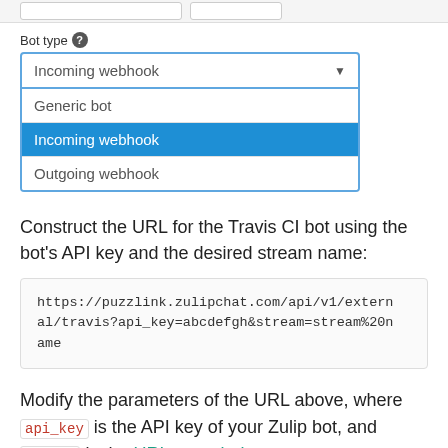[Figure (screenshot): Bot type dropdown selector showing options: Generic bot, Incoming webhook (selected/highlighted in blue), Outgoing webhook]
Construct the URL for the Travis CI bot using the bot's API key and the desired stream name:
https://puzzlink.zulipchat.com/api/v1/external/travis?api_key=abcdefgh&stream=stream%20name
Modify the parameters of the URL above, where api_key is the API key of your Zulip bot, and stream is the URL-encoded stream name you want the notifications sent to. If you do not specify a stream, the bot will send notifications